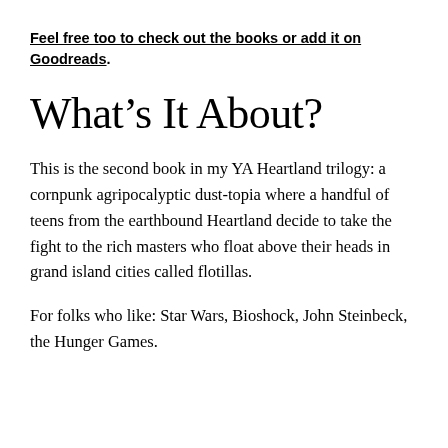Feel free too to check out the books or add it on Goodreads.
What's It About?
This is the second book in my YA Heartland trilogy: a cornpunk agripocalyptic dust-topia where a handful of teens from the earthbound Heartland decide to take the fight to the rich masters who float above their heads in grand island cities called flotillas.
For folks who like: Star Wars, Bioshock, John Steinbeck, the Hunger Games.